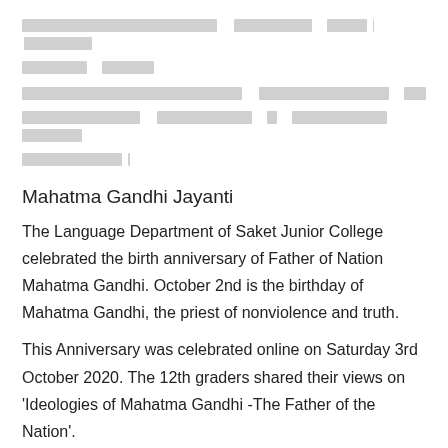[Redacted Hindi/regional language text - lines 1-2]
[Redacted Hindi/regional language text - lines 3-5]
Mahatma Gandhi Jayanti
The Language Department of Saket Junior College celebrated the birth anniversary of Father of Nation Mahatma Gandhi. October 2nd is the birthday of Mahatma Gandhi, the priest of nonviolence and truth.
This Anniversary was celebrated online on Saturday 3rd October 2020. The 12th graders shared their views on 'Ideologies of Mahatma Gandhi -The Father of the Nation'.